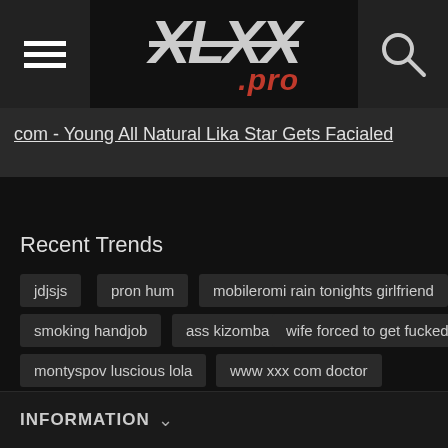XLXX.pro
com - Young All Natural Lika Star Gets Facialed
Recent Trends
jdjsjs
pron hum
mobileromi rain tonights girlfriend
smoking handjob
ass kizomba
wife forced to get fucked
montyspov luscious lola
www xxx com doctor
girl on girl dildo
gay datedick
INFORMATION